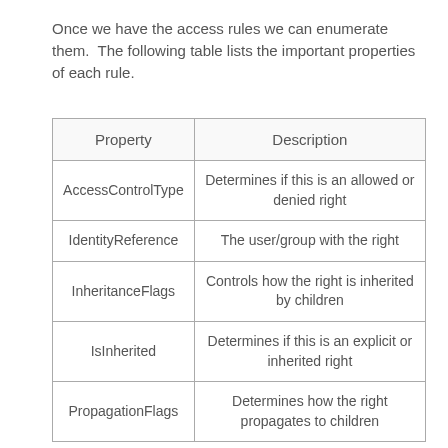Once we have the access rules we can enumerate them.  The following table lists the important properties of each rule.
| Property | Description |
| --- | --- |
| AccessControlType | Determines if this is an allowed or denied right |
| IdentityReference | The user/group with the right |
| InheritanceFlags | Controls how the right is inherited by children |
| IsInherited | Determines if this is an explicit or inherited right |
| PropagationFlags | Determines how the right propagates to children |